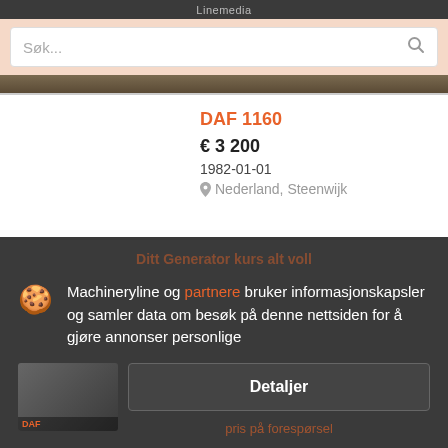Linemedia
Søk...
DAF 1160
€ 3 200
1982-01-01
Nederland, Steenwijk
Machineryline og partnere bruker informasjonskapsler og samler data om besøk på denne nettsiden for å gjøre annonser personlige
Detaljer
pris på forespørsel
Godta og lukk